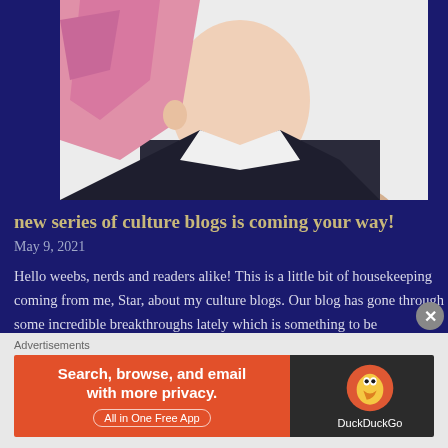[Figure (illustration): Anime-style character with pink hair shown from shoulders up against a light background, partially cropped]
new series of culture blogs is coming your way!
May 9, 2021
Hello weebs, nerds and readers alike! This is a little bit of housekeeping coming from me, Star, about my culture blogs. Our blog has gone through some incredible breakthroughs lately which is something to be celebrated. But recently, meaning the last year or so, I've been at a lost for words. Literally. Being that my …
Advertisements
[Figure (screenshot): DuckDuckGo advertisement banner: orange left section reads 'Search, browse, and email with more privacy. All in One Free App', dark right section shows DuckDuckGo duck logo and brand name]